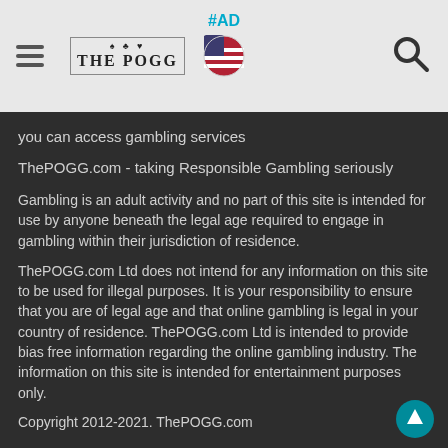#AD | THE POGG (logo) | US flag icon | Search icon
you can access gambling services
ThePOGG.com - taking Responsible Gambling seriously
Gambling is an adult activity and no part of this site is intended for use by anyone beneath the legal age required to engage in gambling within their jurisdiction of residence.
ThePOGG.com Ltd does not intend for any information on this site to be used for illegal purposes. It is your responsibility to ensure that you are of legal age and that online gambling is legal in your country of residence. ThePOGG.com Ltd is intended to provide bias free information regarding the online gambling industry. The information on this site is intended for entertainment purposes only.
Copyright 2012-2021. ThePOGG.com